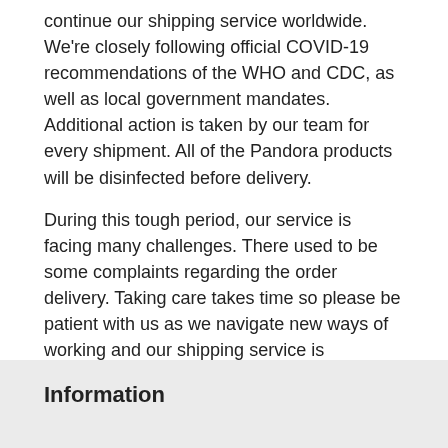continue our shipping service worldwide. We're closely following official COVID-19 recommendations of the WHO and CDC, as well as local government mandates. Additional action is taken by our team for every shipment. All of the Pandora products will be disinfected before delivery.
During this tough period, our service is facing many challenges. There used to be some complaints regarding the order delivery. Taking care takes time so please be patient with us as we navigate new ways of working and our shipping service is improving all the time.
As we move forward during this unprecedented time together, we will continue to follow the guidelines of our public health officials to best navigate in the coming weeks ahead, and share information as it becomes available. As always, we are available online to help with anything you need.
Information